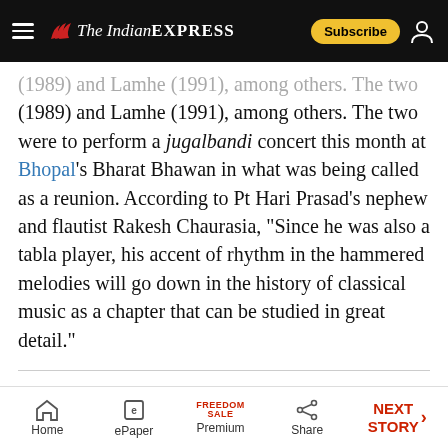The Indian EXPRESS
(1989) and Lamhe (1991), among others. The two were to perform a jugalbandi concert this month at Bhopal's Bharat Bhawan in what was being called as a reunion. According to Pt Hari Prasad's nephew and flautist Rakesh Chaurasia, "Since he was also a tabla player, his accent of rhythm in the hammered melodies will go down in the history of classical music as a chapter that can be studied in great detail."
ALSO READ |Looking back at Pandit Shivkumar Sharma's enduring musical legacy
Home | ePaper | Premium | Share | NEXT STORY